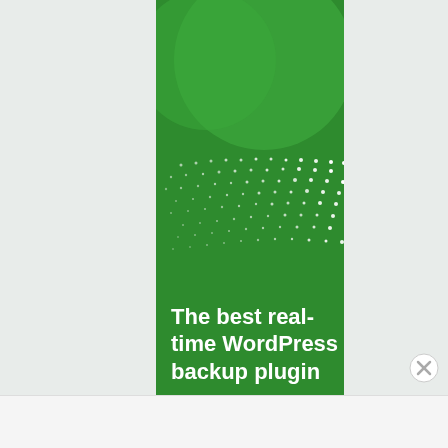[Figure (illustration): Advertisement banner for a WordPress backup plugin. Green background with decorative circles and dot pattern. Text reads: 'The best real-time WordPress backup plugin']
Advertisements